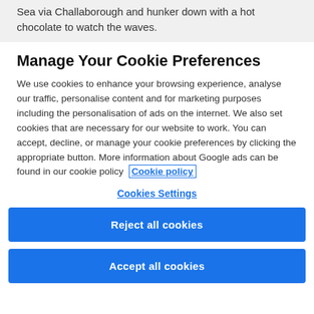Sea via Challaborough and hunker down with a hot chocolate to watch the waves.
Manage Your Cookie Preferences
We use cookies to enhance your browsing experience, analyse our traffic, personalise content and for marketing purposes including the personalisation of ads on the internet. We also set cookies that are necessary for our website to work. You can accept, decline, or manage your cookie preferences by clicking the appropriate button. More information about Google ads can be found in our cookie policy Cookie policy
Cookies Settings
Reject all cookies
Accept all cookies